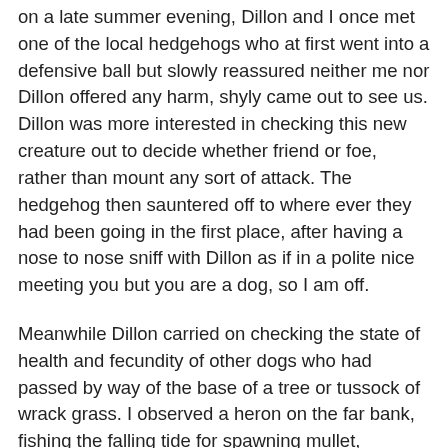on a late summer evening, Dillon and I once met one of the local hedgehogs who at first went into a defensive ball but slowly reassured neither me nor Dillon offered any harm, shyly came out to see us. Dillon was more interested in checking this new creature out to decide whether friend or foe, rather than mount any sort of attack. The hedgehog then sauntered off to where ever they had been going in the first place, after having a nose to nose sniff with Dillon as if in a polite nice meeting you but you are a dog, so I am off.
Meanwhile Dillon carried on checking the state of health and fecundity of other dogs who had passed by way of the base of a tree or tussock of wrack grass. I observed a heron on the far bank, fishing the falling tide for spawning mullet, watching their success with a quick dart and then the head well back as they swallowed their good fortune.
As I waited for the end of one particular scent research with added Dillon, a small glint of yellow caught my eye in the hedge row. Goldfinch, yellow hammer? No, the body was far too small. I watched the silhouette dance around next year's leaf buds - prodding here, poking there.